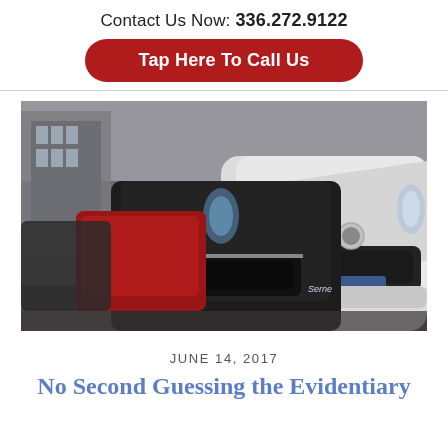Contact Us Now: 336.272.9122
Tap Here To Call Us
[Figure (photo): Row of luxury cars parked at a dealership, seen from the front, including white and black Mercedes vehicles and a red car, in an outdoor lot]
JUNE 14, 2017
No Second Guessing the Evidentiary